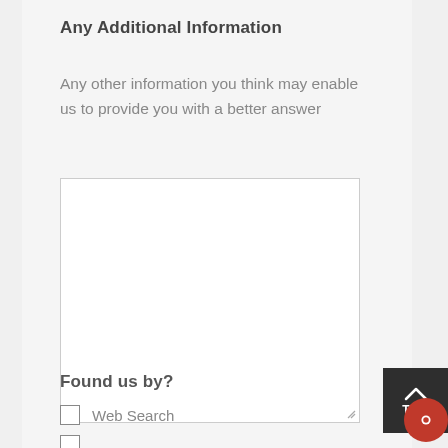Any Additional Information
Any other information you think may enable us to provide you with a better answer
Found us by?
Web Search